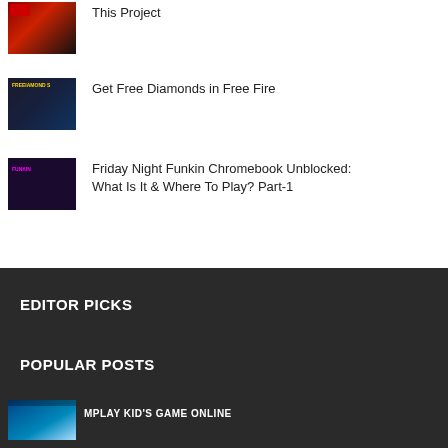This Project
Get Free Diamonds in Free Fire
Friday Night Funkin Chromebook Unblocked: What Is It & Where To Play? Part-1
EDITOR PICKS
POPULAR POSTS
[Figure (photo): Thumbnail image for popular posts item]